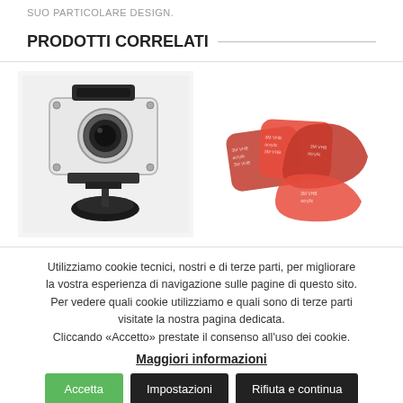SUO PARTICOLARE DESIGN.
PRODOTTI CORRELATI
[Figure (photo): Action camera in waterproof housing with tripod mount]
[Figure (photo): Red 3M VHB adhesive pads (flat and curved)]
Utilizziamo cookie tecnici, nostri e di terze parti, per migliorare la vostra esperienza di navigazione sulle pagine di questo sito. Per vedere quali cookie utilizziamo e quali sono di terze parti visitate la nostra pagina dedicata. Cliccando «Accetto» prestate il consenso all'uso dei cookie.
Maggiori informazioni
Accetta | Impostazioni | Rifiuta e continua